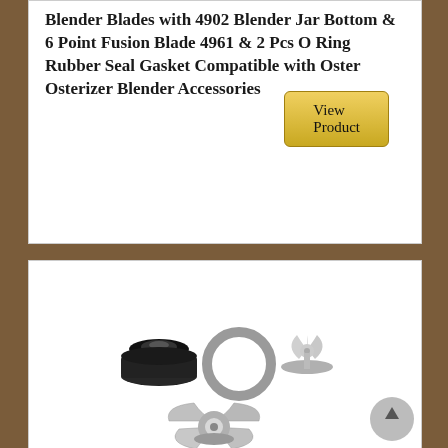Blender Blades with 4902 Blender Jar Bottom & 6 Point Fusion Blade 4961 & 2 Pcs O Ring Rubber Seal Gasket Compatible with Oster Osterizer Blender Accessories
[Figure (other): Button labeled 'View Product' with golden/yellow gradient background and rounded corners]
[Figure (photo): Product photo showing blender accessories: a black jar bottom cap, a gray rubber O-ring gasket, a silver 6-point fusion blade, and a larger 4-blade assembly at the bottom. A gray circular scroll-to-top button is visible in the bottom right corner.]